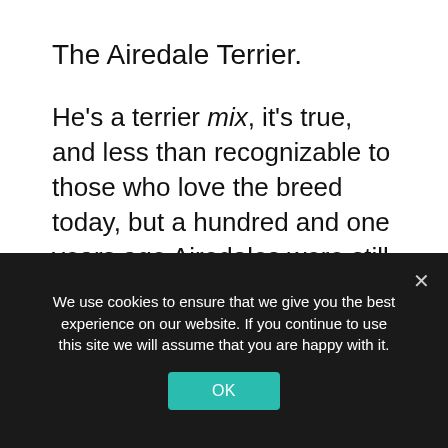The Airedale Terrier.
He's a terrier mix, it's true, and less than recognizable to those who love the breed today, but a hundred and one years ago Airedales were still evolving to their present state of perfection. And they were all over the Western Front, serving alongside the Allies as sentries, scouts, messenger-bearers and Red Cross rescue dogs. Some of them were discovered at the Battersea Dogs
We use cookies to ensure that we give you the best experience on our website. If you continue to use this site we will assume that you are happy with it.